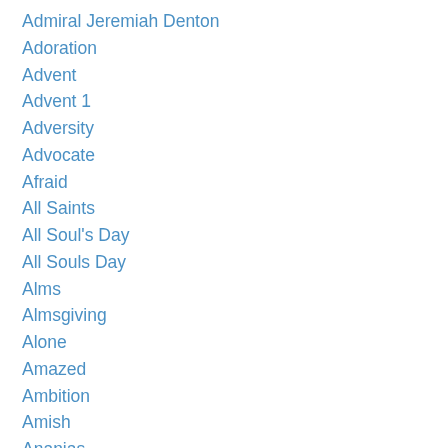Admiral Jeremiah Denton
Adoration
Advent
Advent 1
Adversity
Advocate
Afraid
All Saints
All Soul's Day
All Souls Day
Alms
Almsgiving
Alone
Amazed
Ambition
Amish
Ananias
Andrew
Andrew Kim Tae-gon
Angel
Angels